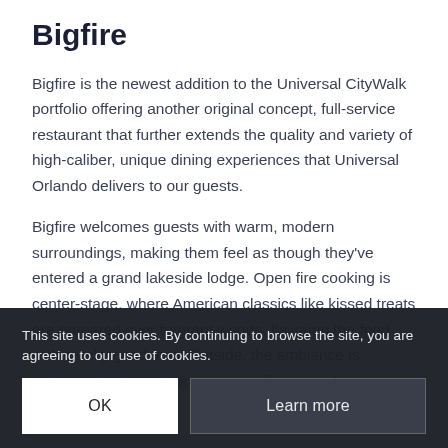Bigfire
Bigfire is the newest addition to the Universal CityWalk portfolio offering another original concept, full-service restaurant that further extends the quality and variety of high-caliber, unique dining experiences that Universal Orlando delivers to our guests.
Bigfire welcomes guests with warm, modern surroundings, making them feel as though they've entered a grand lakeside lodge. Open fire cooking is center-stage, where American classics like kissed treats are prepared over fragrant woods, flavoring the food with smoky goodness. Outside, the ambiance is enhanced with outdoor seating, a fire pit and games on the patio.
This site uses cookies. By continuing to browse the site, you are agreeing to our use of cookies.